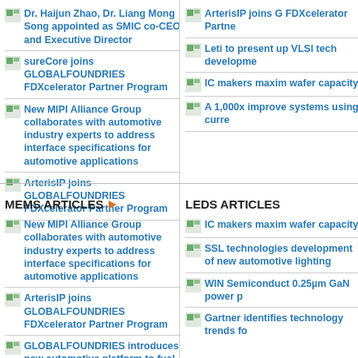Dr. Haijun Zhao, Dr. Liang Mong Song appointed as SMIC co-CEO and Executive Director
sureCore joins GLOBALFOUNDRIES FDXcelerator Partner Program
New MIPI Alliance Group collaborates with automotive industry experts to address interface specifications for automotive applications
ArterisIP joins GLOBALFOUNDRIES FDXcelerator Partner Program
ArterisIP joins GLOBALFOUNDRIES FDXcelerator Partner Program
Leti to present up VLSI tech development
IC makers maxim wafer capacity
A 1,000x improve systems using curre
MEMS ARTICLES
New MIPI Alliance Group collaborates with automotive industry experts to address interface specifications for automotive applications
ArterisIP joins GLOBALFOUNDRIES FDXcelerator Partner Program
GLOBALFOUNDRIES introduces new automotive platform to fuel tomorrow's connected car
Toshiba Memory Corp to invest in
LEDS ARTICLES
IC makers maxim wafer capacity
SSL technologies development of new automotive lighting
WIN Semiconductor 0.25µm GaN power p
Gartner identifies technology trends fo